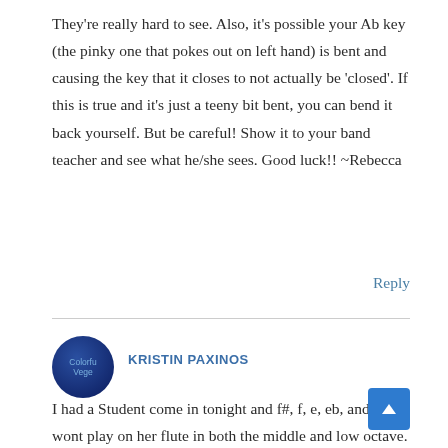They're really hard to see. Also, it's possible your Ab key (the pinky one that pokes out on left hand) is bent and causing the key that it closes to not actually be 'closed'. If this is true and it's just a teeny bit bent, you can bend it back yourself. But be careful! Show it to your band teacher and see what he/she sees. Good luck!! ~Rebecca
Reply
[Figure (illustration): Circular avatar/profile image with dark blue background and text 'Colorful Veg' in light blue]
KRISTIN PAXINOS
I had a Student come in tonight and f#, f, e, eb, and d wont play on her flute in both the middle and low octave. Every other note plays fine. All the springs look good, there are no